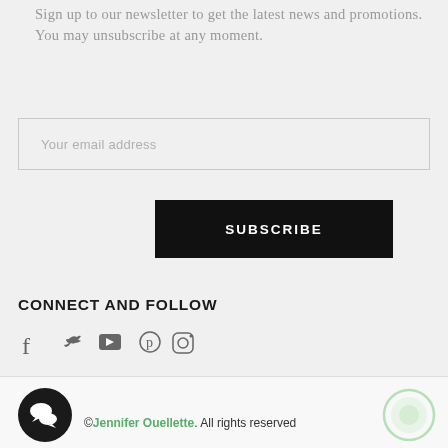Sign up to our newsletter to get the latest news and promotions. You may unsubscribe at any moment.
Your email address
SUBSCRIBE
CONNECT AND FOLLOW
[Figure (illustration): Social media icons: Facebook, Twitter, YouTube, Pinterest, Instagram]
[Figure (logo): Chat bubble icon — black circular background with two speech bubble icons in white]
©Jennifer Ouellette. All rights reserved
[Figure (illustration): Light green circle outline decorative element in footer right corner]